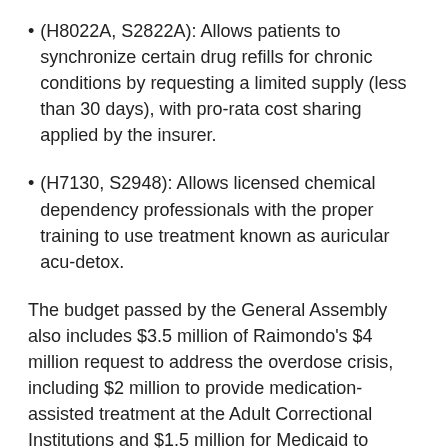(H8022A, S2822A): Allows patients to synchronize certain drug refills for chronic conditions by requesting a limited supply (less than 30 days), with pro-rata cost sharing applied by the insurer.
(H7130, S2948): Allows licensed chemical dependency professionals with the proper training to use treatment known as auricular acu-detox.
The budget passed by the General Assembly also includes $3.5 million of Raimondo's $4 million request to address the overdose crisis, including $2 million to provide medication-assisted treatment at the Adult Correctional Institutions and $1.5 million for Medicaid to support Centers of Excellence for addiction treatment and expand the use of peer-recovery coaches.